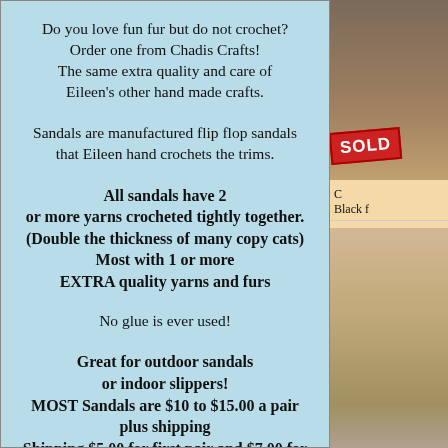Do you love fun fur but do not crochet? Order one from Chadis Crafts! The same extra quality and care of Eileen's other hand made crafts.
Sandals are manufactured flip flop sandals that Eileen hand crochets the trims.
All sandals have 2 or more yarns crocheted tightly together. (Double the thickness of many copy cats) Most with 1 or more EXTRA quality yarns and furs
No glue is ever used!
Great for outdoor sandals or indoor slippers! MOST Sandals are $10 to $15.00 a pair plus shipping Shipping $5.00 for first pair and $7.00 for 2.
Email me with your color or size request. I will see if I have the yarn or can get the yarn
[Figure (photo): Photo of crafts item, partially visible at top right]
[Figure (photo): SOLD badge overlay on top right panel]
C Black f Sherbe
[Figure (photo): Photo in bottom right panel showing a sandal or craft item]